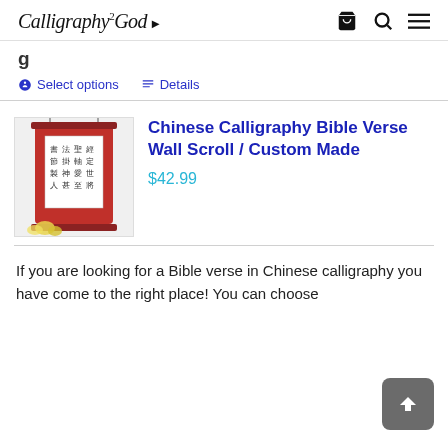Calligraphy 2 God
g...
Select options   Details
[Figure (photo): Red Chinese calligraphy wall scroll with white panel showing Chinese characters, yellow flowers at the base, hanging on a white wall]
Chinese Calligraphy Bible Verse Wall Scroll / Custom Made
$42.99
If you are looking for a Bible verse in Chinese calligraphy you have come to the right place! You can choose